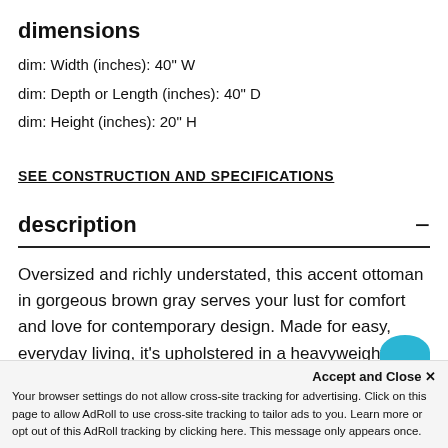dimensions
dim: Width (inches): 40" W
dim: Depth or Length (inches): 40" D
dim: Height (inches): 20" H
SEE CONSTRUCTION AND SPECIFICATIONS
description
Oversized and richly understated, this accent ottoman in gorgeous brown gray serves your lust for comfort and love for contemporary design. Made for easy, everyday living, it's upholstered in a heavyweight padded faux leather, accented with contrast jumbo stitching for fashion-forward flair.
Accept and Close ✕
Your browser settings do not allow cross-site tracking for advertising. Click on this page to allow AdRoll to use cross-site tracking to tailor ads to you. Learn more or opt out of this AdRoll tracking by clicking here. This message only appears once.